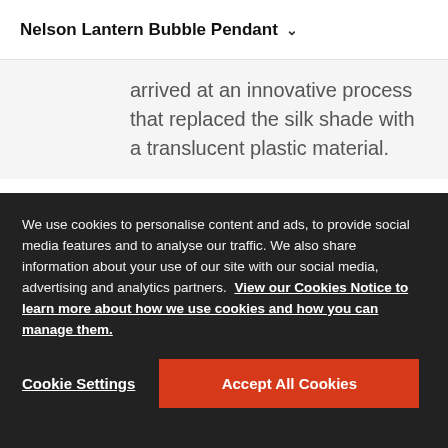Nelson Lantern Bubble Pendant
arrived at an innovative process that replaced the silk shade with a translucent plastic material.
The Nelson Bubble Lamp
We use cookies to personalise content and ads, to provide social media features and to analyse our traffic. We also share information about your use of our site with our social media, advertising and analytics partners. View our Cookies Notice to learn more about how we use cookies and how you can manage them.
Cookie Settings
Accept All Cookies